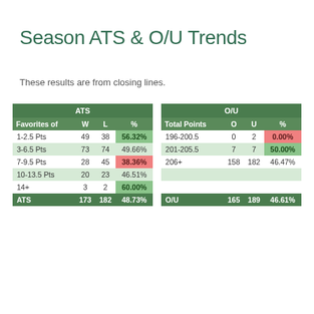Season ATS & O/U Trends
These results are from closing lines.
| Favorites of | W | L | % | Total Points | O | U | % |
| --- | --- | --- | --- | --- | --- | --- | --- |
| 1-2.5 Pts | 49 | 38 | 56.32% | 196-200.5 | 0 | 2 | 0.00% |
| 3-6.5 Pts | 73 | 74 | 49.66% | 201-205.5 | 7 | 7 | 50.00% |
| 7-9.5 Pts | 28 | 45 | 38.36% | 206+ | 158 | 182 | 46.47% |
| 10-13.5 Pts | 20 | 23 | 46.51% |  |  |  |  |
| 14+ | 3 | 2 | 60.00% |  |  |  |  |
| ATS | 173 | 182 | 48.73% | O/U | 165 | 189 | 46.61% |